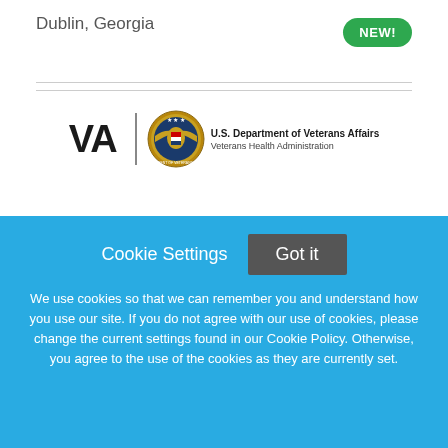Dublin, Georgia
[Figure (logo): VA - U.S. Department of Veterans Affairs, Veterans Health Administration logo with seal]
Nursing Assistant - Float Pool
Veterans Affairs, Veterans Health Administration
Cookie Settings  Got it

We use cookies so that we can remember you and understand how you use our site. If you do not agree with our use of cookies, please change the current settings found in our Cookie Policy. Otherwise, you agree to the use of the cookies as they are currently set.